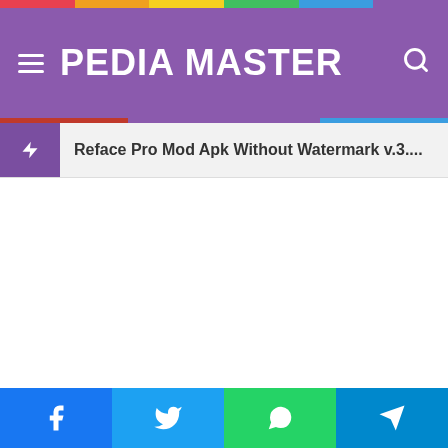PEDIA MASTER
Reface Pro Mod Apk Without Watermark v.3....
[Figure (screenshot): Social share bar with Facebook, Twitter, WhatsApp, and Telegram buttons]